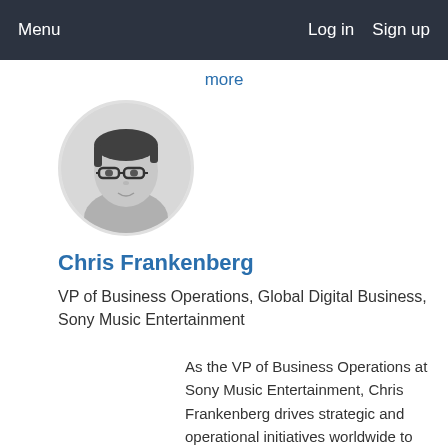Menu   Log in   Sign up
more
[Figure (photo): Black and white circular profile photo of Chris Frankenberg, a man with glasses and dark hair.]
Chris Frankenberg
VP of Business Operations, Global Digital Business, Sony Music Entertainment
As the VP of Business Operations at Sony Music Entertainment, Chris Frankenberg drives strategic and operational initiatives worldwide to foster innovation and grow the company's digital business.  He leads